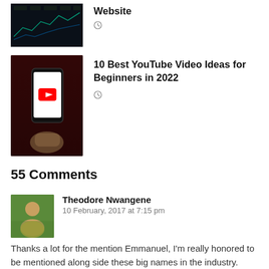[Figure (photo): Dark tech/analytics website screenshot thumbnail (partial, top of page)]
Website
clock icon
[Figure (photo): Hand holding a phone showing YouTube logo on screen, dark red background]
10 Best YouTube Video Ideas for Beginners in 2022
clock icon
55 Comments
[Figure (photo): Profile photo of Theodore Nwangene]
Theodore Nwangene
10 February, 2017 at 7:15 pm
Thanks a lot for the mention Emmanuel, I'm really honored to be mentioned along side these big names in the industry.
Getting the attention of influencers in your niche is not easy but using the techniques to reaching i…